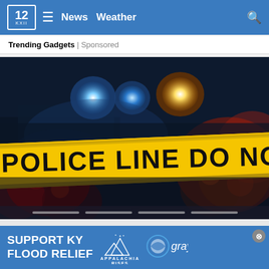12 KXII | News  Weather
Trending Gadgets | Sponsored
[Figure (photo): Police line do not cross yellow tape in front of police car with blue and orange lights at night]
SUPPORT KY FLOOD RELIEF — Appalachia Rises — gray